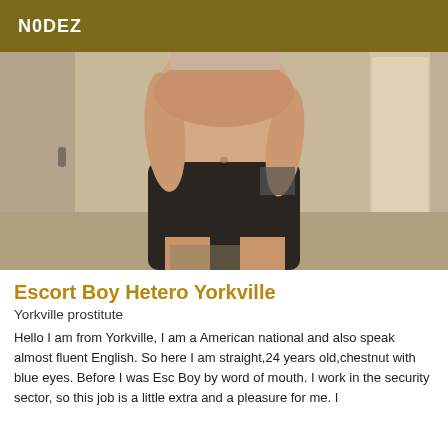N0DEZ
[Figure (photo): A shirtless man standing indoors, wearing dark shorts, photographed from neck to knees in a mirror selfie style.]
Escort Boy Hetero Yorkville
Yorkville prostitute
Hello I am from Yorkville, I am a American national and also speak almost fluent English. So here I am straight,24 years old,chestnut with blue eyes. Before I was Esc Boy by word of mouth. I work in the security sector, so this job is a little extra and a pleasure for me. I